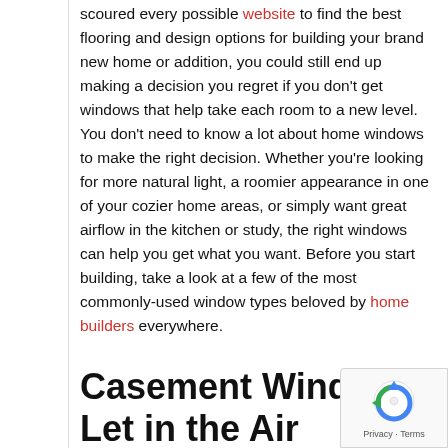scoured every possible website to find the best flooring and design options for building your brand new home or addition, you could still end up making a decision you regret if you don't get windows that help take each room to a new level. You don't need to know a lot about home windows to make the right decision. Whether you're looking for more natural light, a roomier appearance in one of your cozier home areas, or simply want great airflow in the kitchen or study, the right windows can help you get what you want. Before you start building, take a look at a few of the most commonly-used window types beloved by home builders everywhere.
Casement Windows Let in the Air
If you have a room, area, or an entire floor of your home that can't quite catch the breeze in a